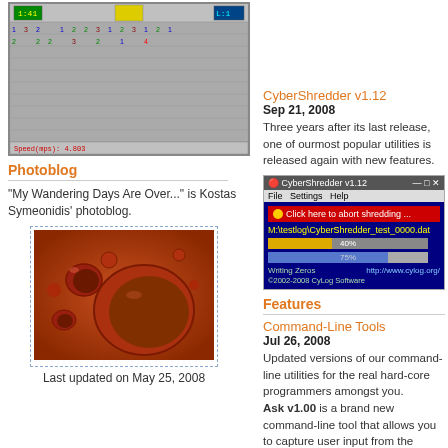[Figure (screenshot): Minesweeper-style game grid with numbered cells and status bar showing Speed(mps): 4.803]
Photoblog
"My Wandering Days Are Over..." is Kostas Symeonidis' photoblog.
[Figure (photo): Close-up photo of reddish-brown surface with craters and water droplets, Mars-like texture]
Last updated on May 25, 2008
CyberShredder v1.12
Sep 21, 2008
Three years after its last release, one of ourmost popular utilities is released again with new features.
[Figure (screenshot): CyberShredder v1.12 application window showing shredding progress with 40% and 75% progress bars, file path M:\testlog\CyberShredder_test_0000.dat]
Features
Command-Line Tools
Jul 26, 2008
Updated versions of our command-line utilities for the real hard-core programmers amongst you. Ask v1.00 is a brand new command-line tool that allows you to capture user input from the console and redirect it to standard output or set an environment variable and spawn a child process that uses it. Very useful for password-type input in batch files.
more...